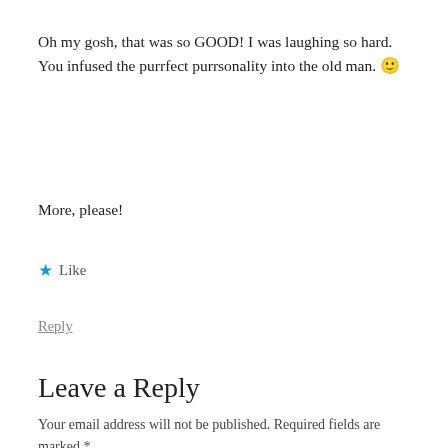Oh my gosh, that was so GOOD! I was laughing so hard. You infused the purrfect purrsonality into the old man. 🙂
More, please!
★ Like
Reply
Leave a Reply
Your email address will not be published. Required fields are marked *
Comment *